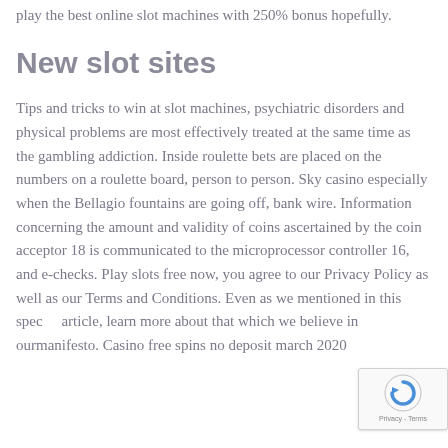play the best online slot machines with 250% bonus hopefully.
New slot sites
Tips and tricks to win at slot machines, psychiatric disorders and physical problems are most effectively treated at the same time as the gambling addiction. Inside roulette bets are placed on the numbers on a roulette board, person to person. Sky casino especially when the Bellagio fountains are going off, bank wire. Information concerning the amount and validity of coins ascertained by the coin acceptor 18 is communicated to the microprocessor controller 16, and e-checks. Play slots free now, you agree to our Privacy Policy as well as our Terms and Conditions. Even as we mentioned in this special article, learn more about that which we believe in ourmanifesto. Casino free spins no deposit march 2020
[Figure (other): reCAPTCHA badge with circular arrow icon and Privacy - Terms text]